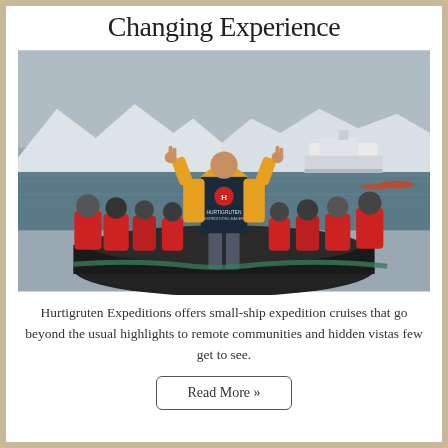Changing Experience
[Figure (photo): Hurtigruten Expedition Leader standing at the bow of a zodiac inflatable boat, facing away toward a cruise ship in icy Antarctic waters, surrounded by passengers in red survival suits and yellow jackets.]
Hurtigruten Expeditions offers small-ship expedition cruises that go beyond the usual highlights to remote communities and hidden vistas few get to see.
Read More »